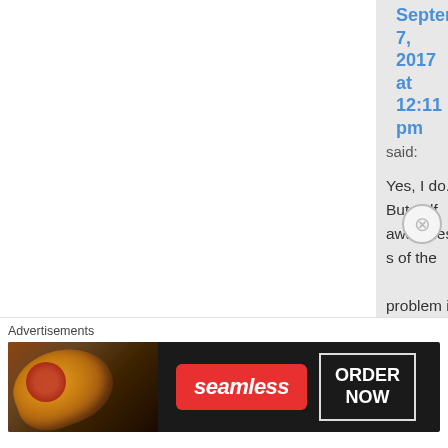September 7, 2017 at 12:11 pm
said:
Yes, I do. But self awareness of the problem is a pre-requisite to change. DBT is very
Advertisements
[Figure (other): Seamless pizza delivery advertisement banner with pizza image on left, red Seamless logo button in center, and ORDER NOW button on right, on dark background]